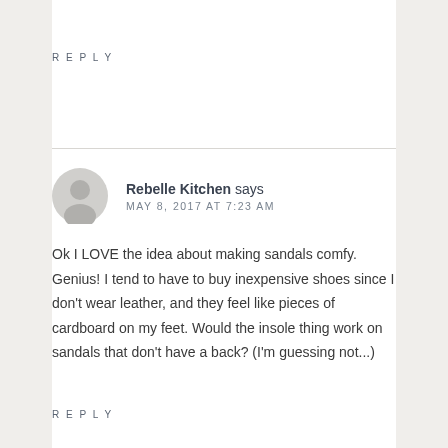REPLY
Rebelle Kitchen says
MAY 8, 2017 AT 7:23 AM
Ok I LOVE the idea about making sandals comfy. Genius! I tend to have to buy inexpensive shoes since I don't wear leather, and they feel like pieces of cardboard on my feet. Would the insole thing work on sandals that don't have a back? (I'm guessing not...)
REPLY